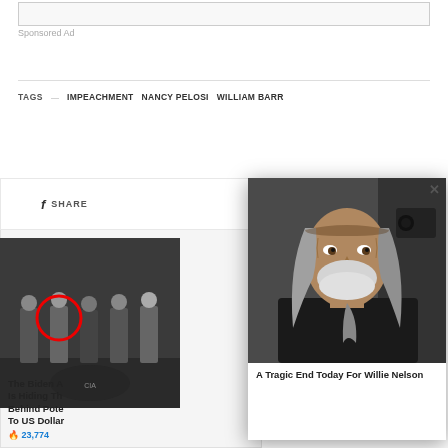Sponsored Ad
TAGS — IMPEACHMENT  NANCY PELOSI  WILLIAM BARR
f  SHARE
[Figure (photo): Group photo with a person circled in red]
The Biden A... Is Hiding Th... Behind Pote... To US Dolla...
23,774
[Figure (photo): Close-up portrait of an elderly man with long gray hair and white beard]
A Tragic End Today For Willie Nelson